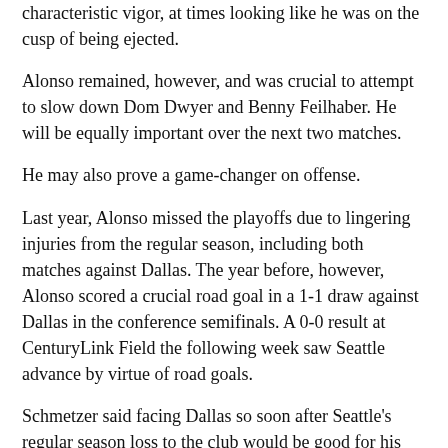characteristic vigor, at times looking like he was on the cusp of being ejected.
Alonso remained, however, and was crucial to attempt to slow down Dom Dwyer and Benny Feilhaber. He will be equally important over the next two matches.
He may also prove a game-changer on offense.
Last year, Alonso missed the playoffs due to lingering injuries from the regular season, including both matches against Dallas. The year before, however, Alonso scored a crucial road goal in a 1-1 draw against Dallas in the conference semifinals. A 0-0 result at CenturyLink Field the following week saw Seattle advance by virtue of road goals.
Schmetzer said facing Dallas so soon after Seattle's regular season loss to the club would be good for his team's psyche.